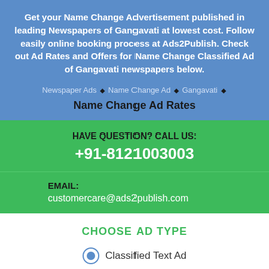Get your Name Change Advertisement published in leading Newspapers of Gangavati at lowest cost. Follow easily online booking process at Ads2Publish. Check out Ad Rates and Offers for Name Change Classified Ad of Gangavati newspapers below.
Newspaper Ads • Name Change Ad • Gangavati •
Name Change Ad Rates
HAVE QUESTION? CALL US:
+91-8121003003
EMAIL:
customercare@ads2publish.com
CHOOSE AD TYPE
Classified Text Ad